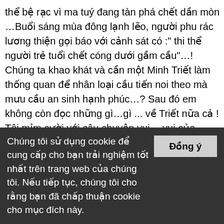thể bệ rạc vì ma tuý đang tàn phá chết dần mòn …Buổi sáng mùa đông lạnh lẽo, người phu rác lương thiện gọi báo với cảnh sát có :" thi thể người trẻ tuổi chết cóng dưới gầm cầu"…! Chúng ta khao khát và cần một Minh Triết làm thống quan để nhân loại cầu tiến noi theo mà mưu cầu an sinh hạnh phúc…? Sau đó em không còn đọc những gì…gì ... về Triết nữa cả ! Tôi mỉm cười với câu chuyện vui… vui của Mitsuko và Mary…! Tôi hiểu và thường ba phải nịnh đầm tán thán với mấy cô ả "triết gia", chiếc cành ... không qua khỏi ngọn cỏ, dễ thương, hồn nhiên chưa nhiễm vết nám và nét hằn của cuộc đời này .
Chúng tôi sử dụng cookie để cung cấp cho bạn trải nghiệm tốt nhất trên trang web của chúng tôi. Nếu tiếp tục, chúng tôi cho rằng bạn đã chấp thuận cookie cho mục đích này.